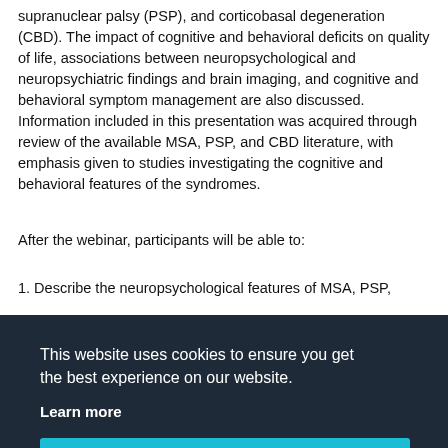supranuclear palsy (PSP), and corticobasal degeneration (CBD). The impact of cognitive and behavioral deficits on quality of life, associations between neuropsychological and neuropsychiatric findings and brain imaging, and cognitive and behavioral symptom management are also discussed. Information included in this presentation was acquired through review of the available MSA, PSP, and CBD literature, with emphasis given to studies investigating the cognitive and behavioral features of the syndromes.
After the webinar, participants will be able to:
1. Describe the neuropsychological features of MSA, PSP,
This website uses cookies to ensure you get the best experience on our website.
Learn more
Got it!
Instructional Level: Intermediate